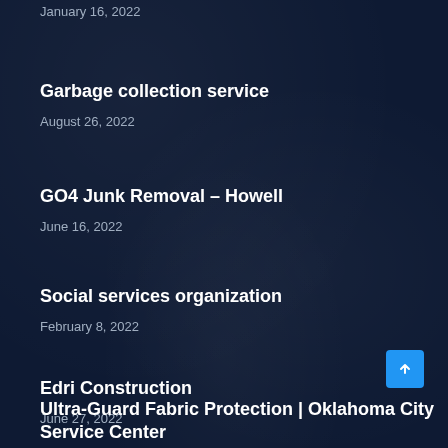January 16, 2022
Garbage collection service
August 26, 2022
GO4 Junk Removal – Howell
June 16, 2022
Social services organization
February 8, 2022
Edri Construction
June 27, 2022
Ultra-Guard Fabric Protection | Oklahoma City Service Center